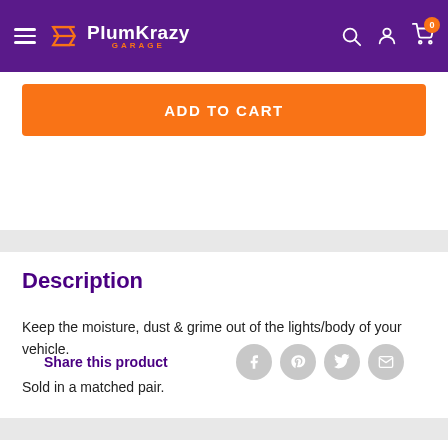PlumKrazy Garage
ADD TO CART
Share this product
Description
Keep the moisture, dust & grime out of the lights/body of your vehicle.
Sold in a matched pair.